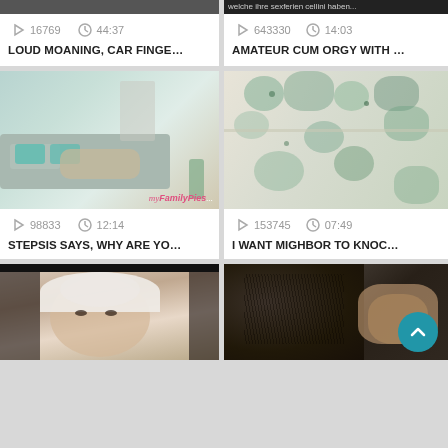[Figure (screenshot): Video card top-left: play icon, clock icon, views 16769, duration 44:37, title LOUD MOANING, CAR FINGE...]
[Figure (screenshot): Video card top-right: play icon, clock icon, views 643330, duration 14:03, title AMATEUR CUM ORGY WITH ...]
[Figure (photo): Video thumbnail middle-left: living room scene with person on sofa, myFamilyPies watermark]
[Figure (screenshot): Video card middle-left: play icon, clock icon, views 98833, duration 12:14, title STEPSIS SAYS, WHY ARE YO...]
[Figure (photo): Video thumbnail middle-right: floral fabric/bedding close-up]
[Figure (screenshot): Video card middle-right: play icon, clock icon, views 153745, duration 07:49, title I WANT MIGHBOR TO KNOC...]
[Figure (photo): Video thumbnail bottom-left: woman with white towel on head lying down]
[Figure (photo): Video thumbnail bottom-right: close-up photo, partially visible, with teal scroll-to-top button]